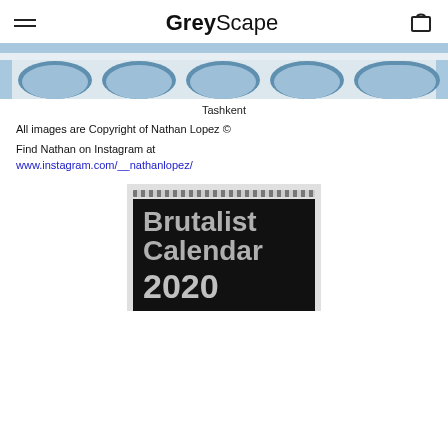GreyScape
[Figure (photo): Architectural photo of brutalist building with curved arched windows in blue and white tones — Tashkent]
Tashkent
All images are Copyright of Nathan Lopez ©
Find Nathan on Instagram at www.instagram.com/__nathanlopez/
[Figure (photo): Photo of the Brutalist Calendar 2020 product — a spiral-bound calendar with black cover showing large grey text reading 'Brutalist Calendar 2020']